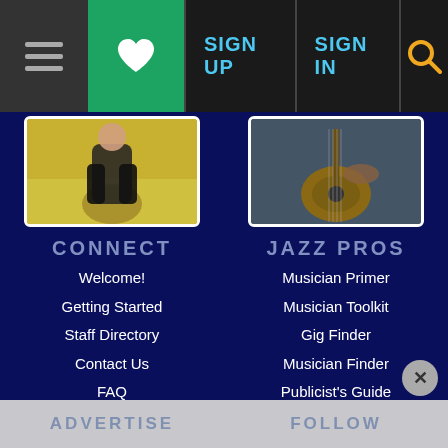SIGN UP  SIGN IN
[Figure (screenshot): Photo of person in leather jacket on yellow background]
CONNECT
Welcome!
Getting Started
Staff Directory
Contact Us
FAQ
[Figure (screenshot): Photo of musician playing acoustic guitar]
JAZZ PROS
Musician Primer
Musician Toolkit
Gig Finder
Musician Finder
Publicist's Guide
[Figure (photo): Person with megaphone on a hill]
[Figure (photo): Performer with arms raised at concert]
ADVERTISE    FOLLOW